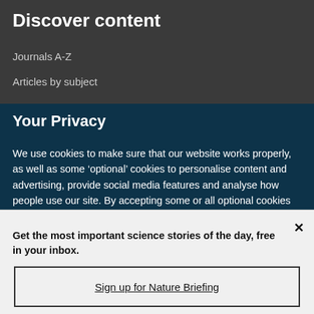Discover content
Journals A-Z
Articles by subject
Your Privacy
We use cookies to make sure that our website works properly, as well as some ‘optional’ cookies to personalise content and advertising, provide social media features and analyse how people use our site. By accepting some or all optional cookies you give consent to the processing of your personal data, including transfer to third parties, some in countries outside of the European Economic Area that do not offer the same data protection standards as the country where you live. You can decide which optional cookies to accept by clicking on ‘Manage Settings’, where you can
Get the most important science stories of the day, free in your inbox.
Sign up for Nature Briefing